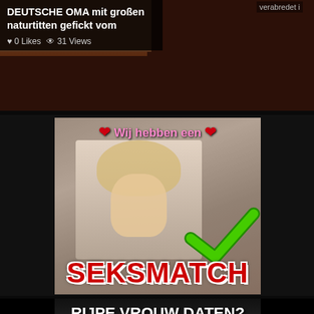[Figure (screenshot): Dark brownish banner showing a video thumbnail with text overlay: 'DEUTSCHE OMA mit großen naturtitten gefickt vom', 0 Likes, 31 Views, 'verabredet i' label top right]
[Figure (photo): Advertisement image with blonde woman, text 'Wij hebben een' in pink with red hearts, large red bold text 'SEKSMATCH' at bottom, green checkmark graphic]
[Figure (photo): Advertisement showing older blonde woman with white bold text 'RIJPE VROUW DATEN?' at top, with English language selector at bottom right]